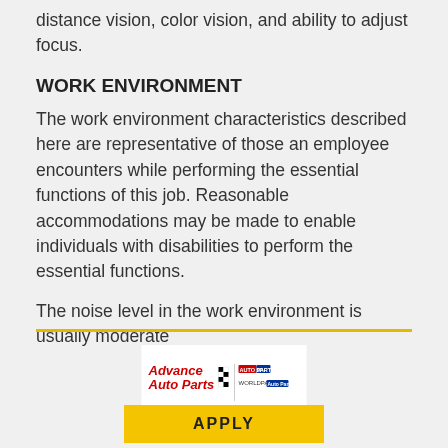distance vision, color vision, and ability to adjust focus.
WORK ENVIRONMENT
The work environment characteristics described here are representative of those an employee encounters while performing the essential functions of this job. Reasonable accommodations may be made to enable individuals with disabilities to perform the essential functions.
The noise level in the work environment is usually moderate
[Figure (logo): Advance Auto Parts logo with checkered flag and subsidiary brand logo]
APPLY